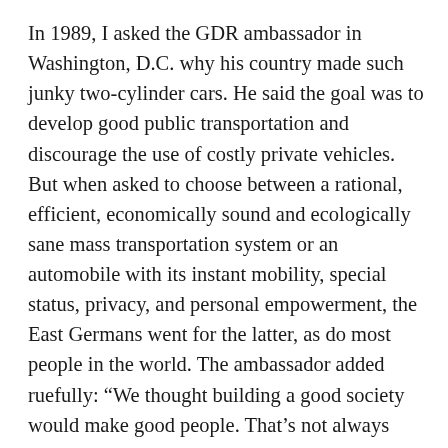In 1989, I asked the GDR ambassador in Washington, D.C. why his country made such junky two-cylinder cars. He said the goal was to develop good public transportation and discourage the use of costly private vehicles. But when asked to choose between a rational, efficient, economically sound and ecologically sane mass transportation system or an automobile with its instant mobility, special status, privacy, and personal empowerment, the East Germans went for the latter, as do most people in the world. The ambassador added ruefully: “We thought building a good society would make good people. That’s not always true.” Whether or not it was a good society, at least he was belatedly recognizing the discrepancy between public ideology and private desire.